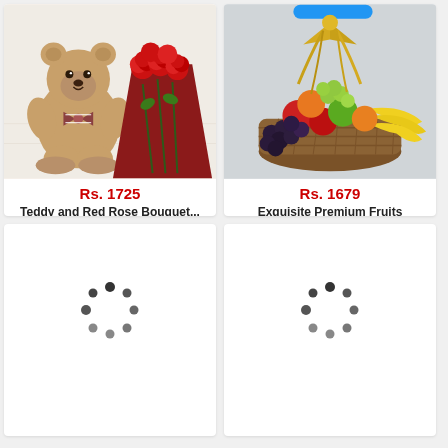[Figure (photo): Teddy bear and red rose bouquet on white background]
Rs. 1725
Teddy and Red Rose Bouquet...
Earliest Delivery : Today
[Figure (photo): Exquisite premium fruits basket with yellow bow on marble surface]
Rs. 1679
Exquisite Premium Fruits Basket...
Earliest Delivery : Today
[Figure (photo): Loading spinner - product image loading]
[Figure (photo): Loading spinner - product image loading]